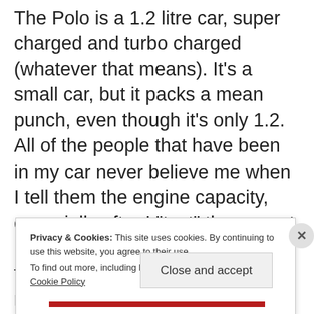The Polo is a 1.2 litre car, super charged and turbo charged (whatever that means). It's a small car, but it packs a mean punch, even though it's only 1.2. All of the people that have been in my car never believe me when I tell them the engine capacity, especially after I “test” the car out. It’s remarkable how much power this little car packs, definitely the most powerful among its competitors in its class ( Ford Fiesta, Honda Jazz, Suzuki
Privacy & Cookies: This site uses cookies. By continuing to use this website, you agree to their use.
To find out more, including how to control cookies, see here: Cookie Policy